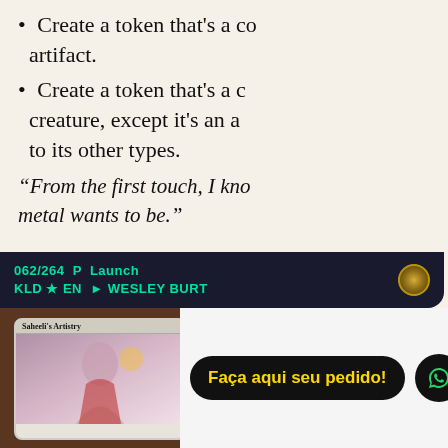[Figure (photo): Close-up photo of a Magic: The Gathering card 'Saheeli's Artistry' (062/264, KLD, foil/promo). Visible text includes two bullet points partially cut off: 'Create a token that's a copy of target artifact.' and 'Create a token that's a copy of target creature, except it's an artifact in addition to its other types.' Flavor text: 'From the first touch, I kno[w what the] metal wants to be.' Collector info: 062/264 P Launch / KLD ★ EN → WESLEY BURT. Holographic swirl decoration visible on card.]
[Figure (photo): Bottom half: thumbnail of the 'Saheeli's Artistry' card on a wooden surface (left), and a call-to-action overlay on white background (right) with black pill-shaped button reading 'Faça aqui seu pedido!' in gold text, and a black circular WhatsApp icon button.]
Create a token that's a copy of target artifact.
Create a token that's a copy of target creature, except it's an artifact in addition to its other types.
"From the first touch, I know what the metal wants to be."
062/264 P Launch
KLD ★ EN → WESLEY BURT
Saheeli's Artistry
Faça aqui seu pedido!